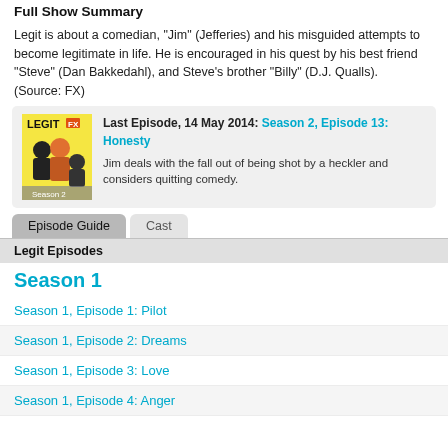Full Show Summary
Legit is about a comedian, "Jim" (Jefferies) and his misguided attempts to become legitimate in life. He is encouraged in his quest by his best friend "Steve" (Dan Bakkedahl), and Steve's brother "Billy" (D.J. Qualls).
(Source: FX)
[Figure (photo): Show poster for Legit Season 2 with three characters]
Last Episode, 14 May 2014: Season 2, Episode 13: Honesty
Jim deals with the fall out of being shot by a heckler and considers quitting comedy.
Episode Guide	Cast
Legit Episodes
Season 1
Season 1, Episode 1: Pilot
Season 1, Episode 2: Dreams
Season 1, Episode 3: Love
Season 1, Episode 4: Anger